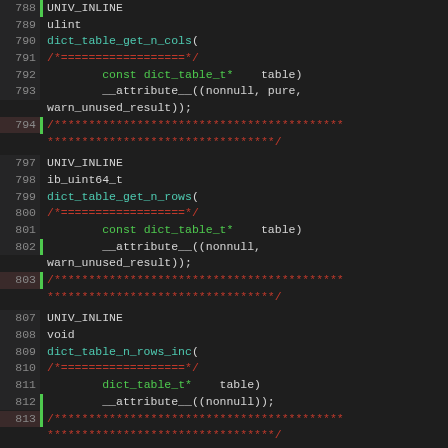[Figure (screenshot): Source code viewer showing C/C++ function declarations with line numbers 788-824. Functions shown: dict_table_get_n_cols, dict_table_get_n_rows, dict_table_n_rows_inc, dict_table_n_rows_dec. Each has UNIV_INLINE macro, return type, function name, and attribute annotations. Comment separators shown in dark red asterisks.]